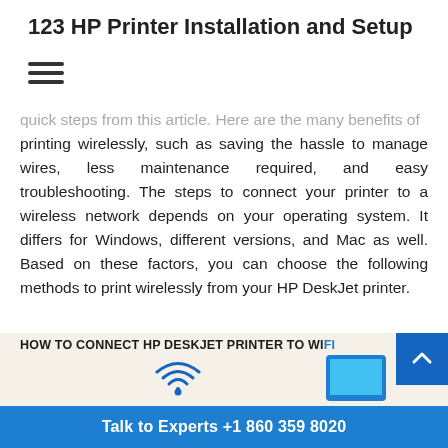123 HP Printer Installation and Setup
[Figure (other): Hamburger menu icon (three horizontal lines)]
quick steps from this article. Here are the many benefits of printing wirelessly, such as saving the hassle to manage wires, less maintenance required, and easy troubleshooting. The steps to connect your printer to a wireless network depends on your operating system. It differs for Windows, different versions, and Mac as well. Based on these factors, you can choose the following methods to print wirelessly from your HP DeskJet printer.
[Figure (infographic): Infographic showing HOW TO CONNECT HP DESKJET PRINTER TO WIFI with a wifi icon, printer silhouette, and tablet device illustration]
Talk to Experts +1 860 359 8020